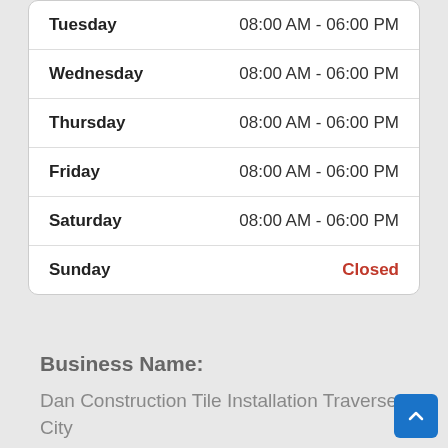| Day | Hours |
| --- | --- |
| Tuesday | 08:00 AM - 06:00 PM |
| Wednesday | 08:00 AM - 06:00 PM |
| Thursday | 08:00 AM - 06:00 PM |
| Friday | 08:00 AM - 06:00 PM |
| Saturday | 08:00 AM - 06:00 PM |
| Sunday | Closed |
Business Name:
Dan Construction Tile Installation Traverse City